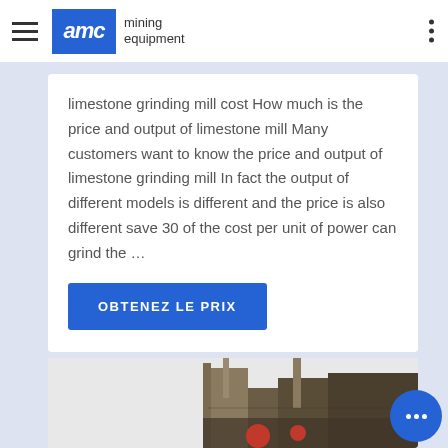AMC mining equipment
limestone grinding mill cost How much is the price and output of limestone mill Many customers want to know the price and output of limestone grinding mill In fact the output of different models is different and the price is also different save 30 of the cost per unit of power can grind the …
OBTENEZ LE PRIX
[Figure (photo): Industrial mining equipment machinery, partial view at bottom of page]